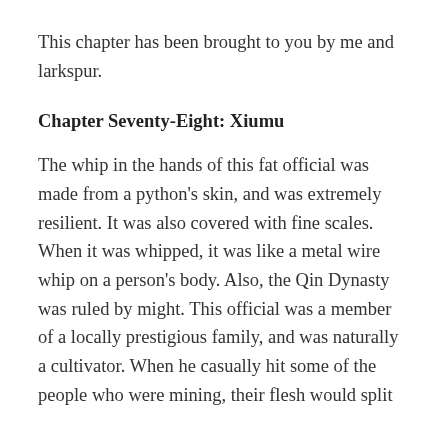This chapter has been brought to you by me and larkspur.
Chapter Seventy-Eight: Xiumu
The whip in the hands of this fat official was made from a python's skin, and was extremely resilient. It was also covered with fine scales. When it was whipped, it was like a metal wire whip on a person's body. Also, the Qin Dynasty was ruled by might. This official was a member of a locally prestigious family, and was naturally a cultivator. When he casually hit some of the people who were mining, their flesh would split